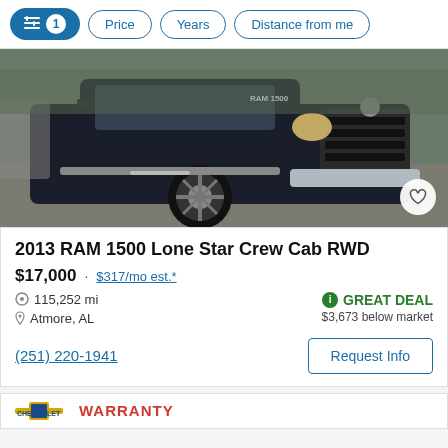Filter controls: [active filter icon 1] Price  Years  Distance from me
[Figure (photo): Front/side view of a dark blue 2013 RAM 1500 pickup truck in a parking lot]
2013 RAM 1500 Lone Star Crew Cab RWD
$17,000 · $317/mo est.*
115,252 mi
Atmore, AL
GREAT DEAL
$3,673 below market
(251) 220-1941
Request Info
[Figure (logo): Partial Chevrolet logo and WARRANTY text visible at bottom of page]